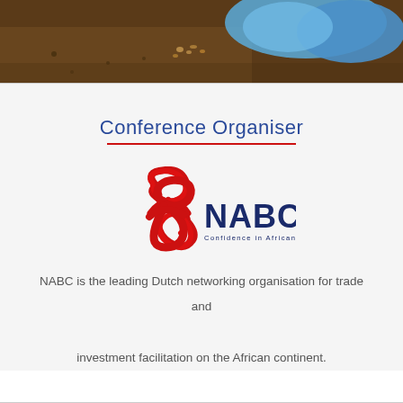[Figure (photo): Photo strip at top of page showing hands holding seeds/grains with blue gloves against a soil background]
Conference Organiser
[Figure (logo): NABC logo - red ribbon/loop graphic with dark blue text 'NABC' and tagline 'Confidence in African Business']
NABC is the leading Dutch networking organisation for trade and investment facilitation on the African continent.